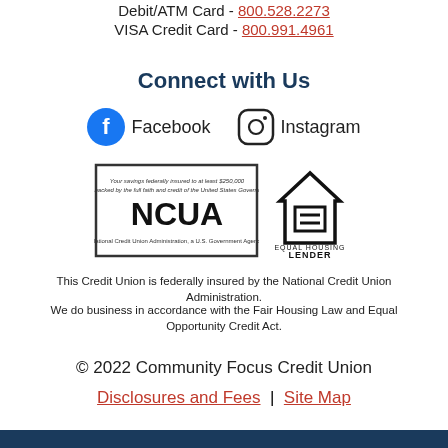Debit/ATM Card - 800.528.2273
VISA Credit Card - 800.991.4961
Connect with Us
[Figure (illustration): Facebook icon (blue circle with white f) and Instagram icon (rounded square with camera graphic) with labels 'Facebook' and 'Instagram']
[Figure (logo): NCUA federally insured logo and Equal Housing Lender logo]
This Credit Union is federally insured by the National Credit Union Administration.
We do business in accordance with the Fair Housing Law and Equal Opportunity Credit Act.
© 2022 Community Focus Credit Union
Disclosures and Fees | Site Map